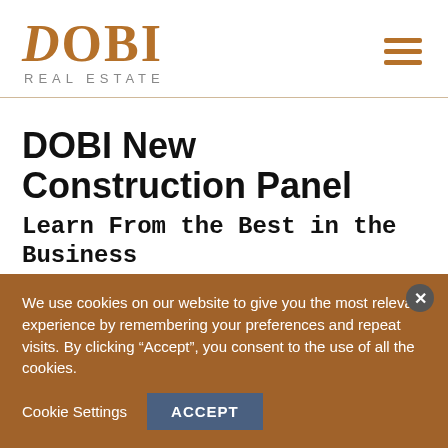[Figure (logo): DOBI Real Estate logo with large brown serif DOBI text and gray spaced REAL ESTATE subtitle]
DOBI New Construction Panel
Learn From the Best in the Business
June 1, 2022
We use cookies on our website to give you the most relevant experience by remembering your preferences and repeat visits. By clicking “Accept”, you consent to the use of all the cookies.
Cookie Settings  ACCEPT